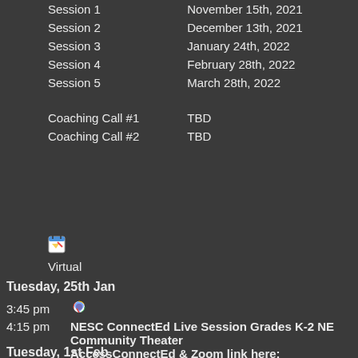| Session | Date |
| --- | --- |
| Session 1 | November 15th, 2021 |
| Session 2 | December 13th, 2021 |
| Session 3 | January 24th, 2022 |
| Session 4 | February 28th, 2022 |
| Session 5 | March 28th, 2022 |
| Coaching Call #1 | TBD |
| Coaching Call #2 | TBD |
[Figure (illustration): Small calendar/map icon]
Virtual
Tuesday, 25th Jan
3:45 pm
[Figure (illustration): Google Maps icon]
4:15 pm  NESC ConnectEd Live Session Grades K-2 NE Community Theater AccessConnectEd & Zoom link here: https://sites.google.com/nescnd.org/nesccon
Tuesday, 1st Feb